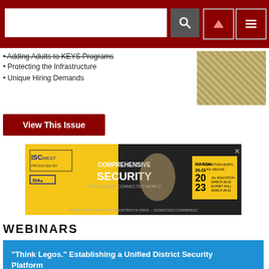• Protecting the Infrastructure
• Unique Hiring Demands
View This Issue
[Figure (photo): ISC West Comprehensive Security advertisement banner for 2023 event at Venetian Expo, Las Vegas]
WEBINARS
"Think Legos." Establishing a Unified District Security Platform
0 Shares